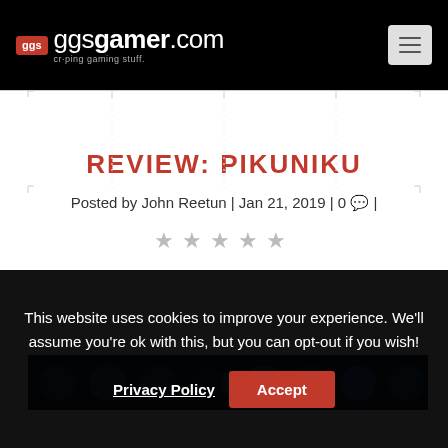ggsgamer.com — criping gaming stuff
REVIEW: PIKUNIKU
Posted by John Reetun | Jan 21, 2019 | 0 |
[Figure (other): Five-star rating display showing stars in gray/unfilled]
[Figure (screenshot): Partial screenshot of Pikuniku game showing blue circular characters on dark background]
This website uses cookies to improve your experience. We'll assume you're ok with this, but you can opt-out if you wish!
Privacy Policy   Accept